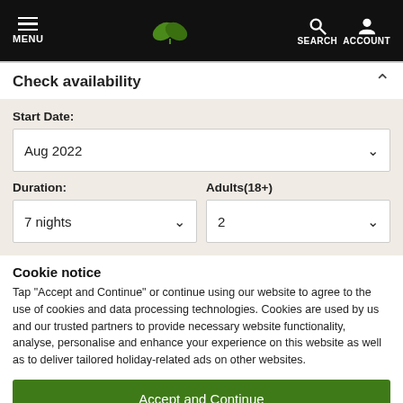MENU | [logo] | SEARCH ACCOUNT
Check availability
Start Date:
Aug 2022
Duration:
Adults(18+)
7 nights
2
Cookie notice
Tap "Accept and Continue" or continue using our website to agree to the use of cookies and data processing technologies. Cookies are used by us and our trusted partners to provide necessary website functionality, analyse, personalise and enhance your experience on this website as well as to deliver tailored holiday-related ads on other websites.
Accept and Continue